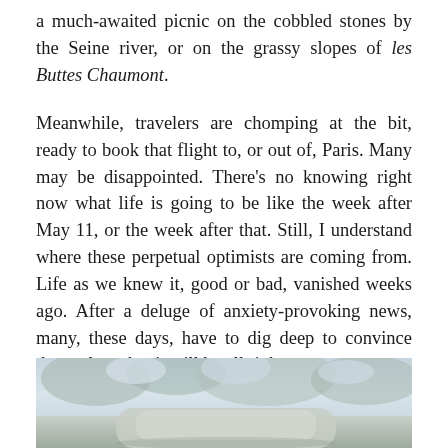a much-awaited picnic on the cobbled stones by the Seine river, or on the grassy slopes of les Buttes Chaumont.
Meanwhile, travelers are chomping at the bit, ready to book that flight to, or out of, Paris. Many may be disappointed. There's no knowing right now what life is going to be like the week after May 11, or the week after that. Still, I understand where these perpetual optimists are coming from. Life as we knew it, good or bad, vanished weeks ago. After a deluge of anxiety-provoking news, many, these days, have to dig deep to convince themselves that it will be all right.
[Figure (photo): Outdoor photo showing trees with foliage and what appears to be a vehicle or structure in the foreground, muted grey-blue tones]